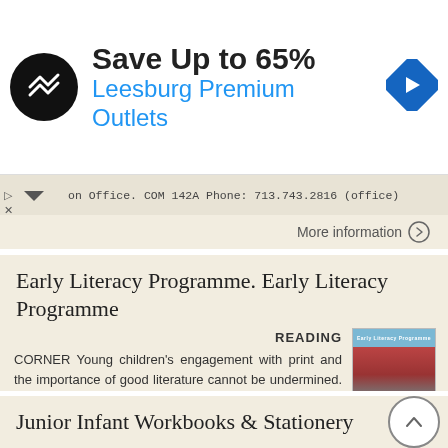[Figure (screenshot): Advertisement banner: Save Up to 65% Leesburg Premium Outlets with logo and navigation arrow icon]
on Office. COM 142A Phone: 713.743.2816 (office)
More information →
Early Literacy Programme. Early Literacy Programme
READING CORNER Young children's engagement with print and the importance of good literature cannot be undermined. Children's meaningful engagement with reading can be initiated
[Figure (photo): Thumbnail image of Early Literacy Programme book cover showing children reading]
More information →
Junior Infant Workbooks & Stationery